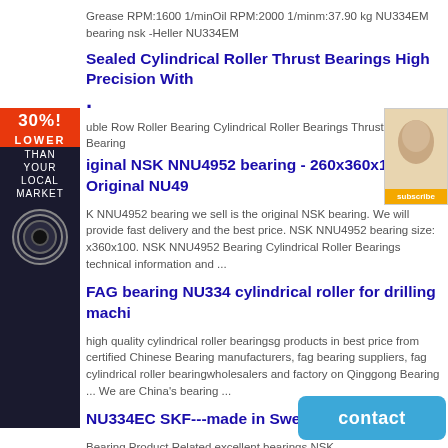Grease RPM:1600 1/minOil RPM:2000 1/minm:37.90 kg NU334EM bearing nsk -Heller NU334EM
Sealed Cylindrical Roller Thrust Bearings High Precision With .
uble Row Roller Bearing Cylindrical Roller Bearings Thrust Ball Bearing
iginal NSK NNU4952 bearing - 260x360x100 Original NU49
K NNU4952 bearing we sell is the original NSK bearing. We will provide fast delivery and the best price. NSK NNU4952 bearing size: x360x100. NSK NNU4952 Bearing Cylindrical Roller Bearings technical information and ...
FAG bearing NU334 cylindrical roller for drilling machi
high quality cylindrical roller bearingsg products in best price from certified Chinese Bearing manufacturers, fag bearing suppliers, fag cylindrical roller bearingwholesalers and factory on Qinggong Bearing ... We are China's bearing ...
NU334EC SKF---made in Swed
Bearing Product Related excellent bearings NSK NU334E Roller Bearings, Bore 170mm NU334EM | Z**o.com SKF NU334EC NU334EC